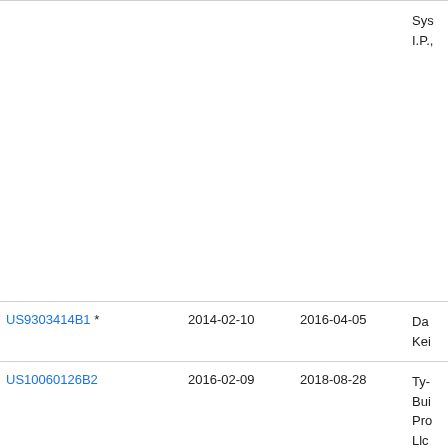| Patent | Filing Date | Publication Date | Assignee |
| --- | --- | --- | --- |
| [partial row - top] |  |  | Sys I.P., |
| US9303414B1 * | 2014-02-10 | 2016-04-05 | Da Kei |
| US10060126B2 | 2016-02-09 | 2018-08-28 | Ty- Bui Pro Llc |
| US10364568B2 * | 2015-01-23 | 2019-07-30 | Ric Kra |
| CN110670812A * | 2019-08-19 | 2020-01-10 | □□□□□ |